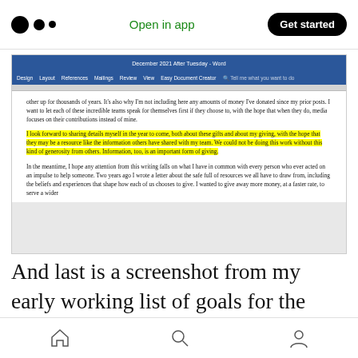Medium app header with logo, Open in app, Get started
[Figure (screenshot): Screenshot of a Microsoft Word document showing text about sharing details on giving and charity, with a yellow-highlighted paragraph beginning 'I look forward to sharing details myself in the year to come...']
And last is a screenshot from my early working list of goals for the website we've been working toward launching at some point next year. We've
Bottom navigation bar with home, search, and profile icons